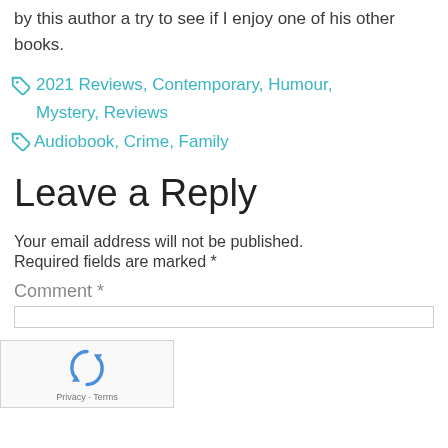by this author a try to see if I enjoy one of his other books.
2021 Reviews, Contemporary, Humour, Mystery, Reviews
Audiobook, Crime, Family
Leave a Reply
Your email address will not be published.
Required fields are marked *
Comment *